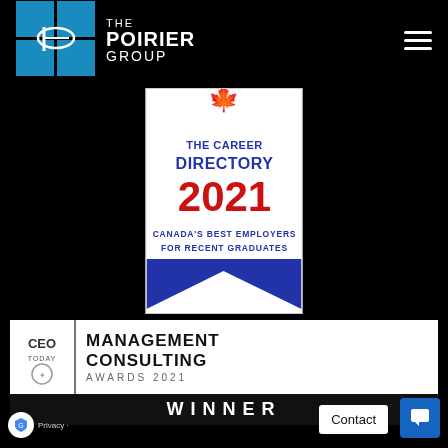[Figure (logo): The Poirier Group logo — blue grid of squares with oval symbol and white text reading THE POIRIER GROUP; hamburger menu icon top right]
[Figure (logo): The Career Directory 2021 — Canada's Best Employers for Recent Graduates badge with red maple leaf, blue text, red 2021, and blue chevron ribbon at bottom]
[Figure (logo): CEO Today Management Consulting Awards 2021 WINNER banner — white background with black bold text and black winner bar]
Contact
Privacy -